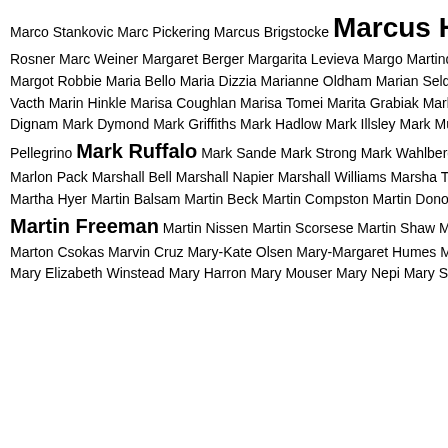Marco Stankovic Marc Pickering Marcus Brigstocke Marcus Harness Marcus Rosner Marc Weiner Margaret Berger Margarita Levieva Margo Martindale Margot Heurtematte Margot Robbie Maria Bello Maria Dizzia Marianne Oldham Marian Seldes Marilyn Lima Marine Vacth Marin Hinkle Marisa Coughlan Marisa Tomei Marita Grabiak Mark Benton Mark Catlin Mark Dignam Mark Dymond Mark Griffiths Mark Hadlow Mark Illsley Mark Munoz Mark O'Brien Mark Pellegrino Mark Ruffalo Mark Sande Mark Strong Mark Wahlberg Mark Webber Marli Siu Marlon Pack Marshall Bell Marshall Napier Marshall Williams Marsha Thomason Marta Milans Martha Hyer Martin Balsam Martin Beck Martin Compston Martin Donovan Martine McCutcheon Martin Freeman Martin Nissen Martin Scorsese Martin Shaw Martin Short Martin Wood Marton Csokas Marvin Cruz Mary-Kate Olsen Mary-Margaret Humes Mary Catherine Garrison Mary Elizabeth Winstead Mary Harron Mary Mouser Mary Nepi Mary Steenburgen Mary Tsoni
[Figure (logo): Circular sports team badge/crest]
Millwa
[Figure (logo): Shield-shaped purple football club crest with star]
Portsm